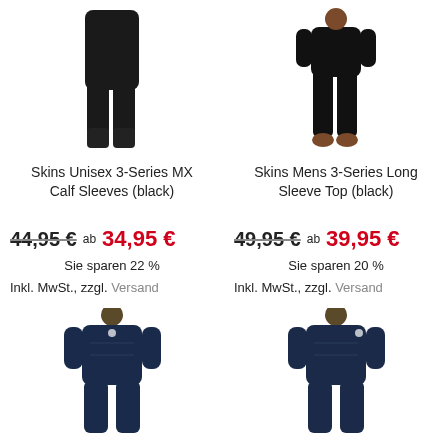[Figure (photo): Skins Unisex 3-Series MX Calf Sleeves product image (black), shown from front]
[Figure (photo): Skins Mens 3-Series Long Sleeve Top product image (black), shown from front with legs visible]
Skins Unisex 3-Series MX Calf Sleeves (black)
Skins Mens 3-Series Long Sleeve Top (black)
44,95 € ab 34,95 €
49,95 € ab 39,95 €
Sie sparen 22 %
Sie sparen 20 %
Inkl. MwSt., zzgl. Versand
Inkl. MwSt., zzgl. Versand
[Figure (photo): Man wearing dark navy blue Skins compression long sleeve top and tights, front view]
[Figure (photo): Man wearing dark navy blue Skins compression long sleeve top and tights, front view, similar product]